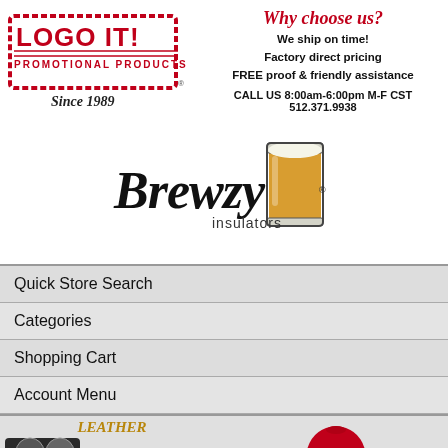[Figure (logo): Logo It! Promotional Products logo with red border stamp style, Since 1989]
Why choose us?
We ship on time!
Factory direct pricing
FREE proof & friendly assistance
CALL US 8:00am-6:00pm M-F CST
512.371.9938
[Figure (logo): Brewzy insulators logo with script text and beer glass illustration]
Quick Store Search
Categories
Shopping Cart
Account Menu
[Figure (photo): Bottom panel showing leather coaster sets product image on left and a red cap on right]